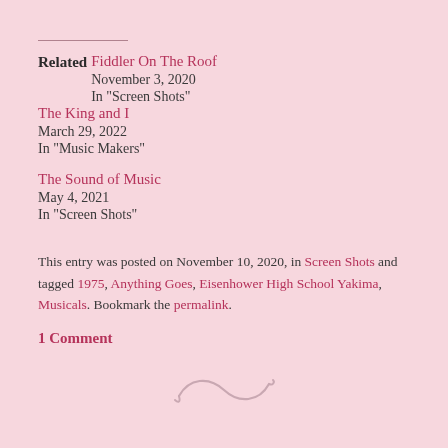Related
Fiddler On The Roof
November 3, 2020
In "Screen Shots"
The King and I
March 29, 2022
In "Music Makers"
The Sound of Music
May 4, 2021
In "Screen Shots"
This entry was posted on November 10, 2020, in Screen Shots and tagged 1975, Anything Goes, Eisenhower High School Yakima, Musicals. Bookmark the permalink.
1 Comment